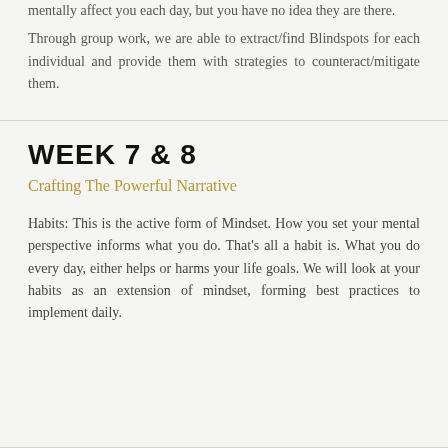mentally affect you each day, but you have no idea they are there.
Through group work, we are able to extract/find Blindspots for each individual and provide them with strategies to counteract/mitigate them.
WEEK 7 & 8
Crafting The Powerful Narrative
Habits: This is the active form of Mindset. How you set your mental perspective informs what you do. That's all a habit is. What you do every day, either helps or harms your life goals. We will look at your habits as an extension of mindset, forming best practices to implement daily.